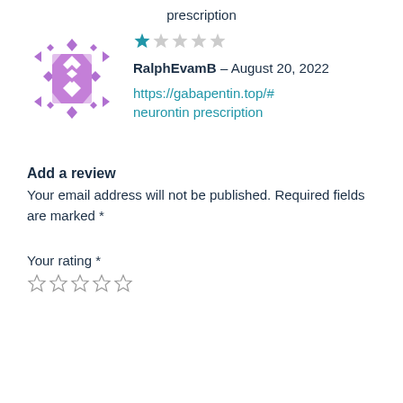prescription
[Figure (illustration): Purple decorative avatar/icon with diamond and triangle quilt pattern]
★☆☆☆☆
RalphEvamB – August 20, 2022
https://gabapentin.top/#neurontin prescription
Add a review
Your email address will not be published. Required fields are marked *
Your rating *
☆☆☆☆☆